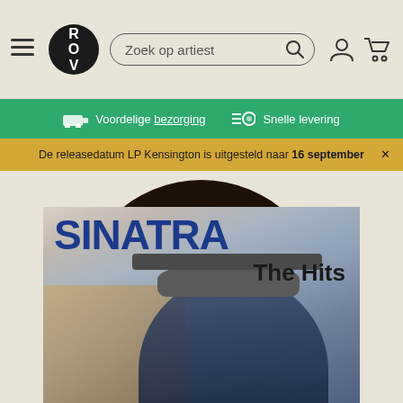[Figure (screenshot): Navigation header with hamburger menu, ROV logo (black circle with ROV text), search bar labeled 'Zoek op artiest', user icon, and shopping cart icon]
Voordelige bezorging   Snelle levering
De releasedatum LP Kensington is uitgesteld naar 16 september
[Figure (photo): Frank Sinatra 'The Hits' album cover showing Frank Sinatra in a blue suit and grey fedora hat, with large blue bold text 'SINATRA' and black text 'The Hits'. A large vinyl record is visible behind the album cover.]